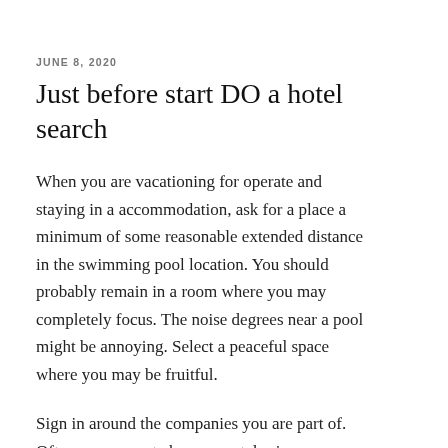JUNE 8, 2020
Just before start DO a hotel search
When you are vacationing for operate and staying in a accommodation, ask for a place a minimum of some reasonable extended distance in the swimming pool location. You should probably remain in a room where you may completely focus. The noise degrees near a pool might be annoying. Select a peaceful space where you may be fruitful.
Sign in around the companies you are part of. Often you can get cheaper motel price ranges through these organizations. These savings could be as significantly as 10 % or maybe more. This could soon add up to major financial savings, even more so when you will be remaining for a lot of times. In just a week's time, you